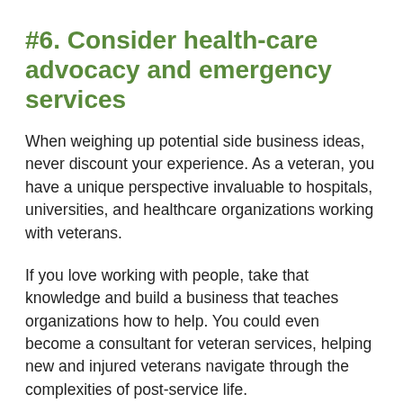#6. Consider health-care advocacy and emergency services
When weighing up potential side business ideas, never discount your experience. As a veteran, you have a unique perspective invaluable to hospitals, universities, and healthcare organizations working with veterans.
If you love working with people, take that knowledge and build a business that teaches organizations how to help. You could even become a consultant for veteran services, helping new and injured veterans navigate through the complexities of post-service life.